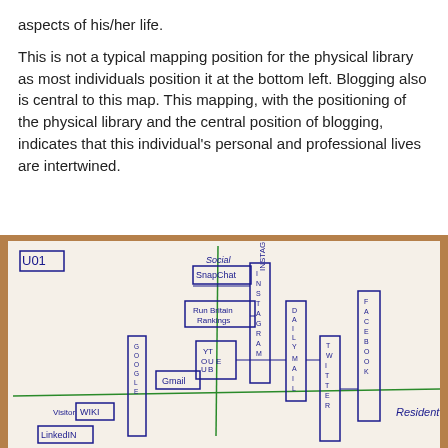aspects of his/her life.

This is not a typical mapping position for the physical library as most individuals position it at the bottom left. Blogging also is central to this map. This mapping, with the positioning of the physical library and the central position of blogging, indicates that this individual's personal and professional lives are intertwined.
[Figure (photo): Hand-drawn information mapping diagram on white paper showing social media and information sources positioned on axes. Labels visible include: U01, Social, SnapChat, Run Britain Rankings, YouTube, Gmail, INSTAGRAM, DAILY MAIL, TWITTER, FACEBOOK, WIKI, Visitor, LinkedIN, Resident.]